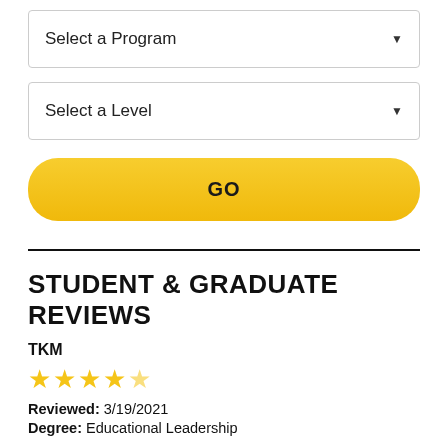[Figure (screenshot): Dropdown selector box labeled 'Select a Program' with a down arrow]
[Figure (screenshot): Dropdown selector box labeled 'Select a Level' with a down arrow]
[Figure (screenshot): Yellow rounded button labeled 'GO']
STUDENT & GRADUATE REVIEWS
TKM
[Figure (other): 4 out of 5 star rating (4 gold stars, 1 half/light star)]
Reviewed: 3/19/2021
Degree: Educational Leadership